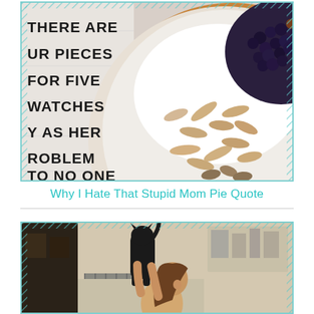[Figure (photo): A pie topped with blueberries, whipped cream, and sliced almonds/pumpkin seeds, viewed from above on a white plate. On the left side, overlaid bold black text reads partial lines of a quote ending with '-DR V'.]
Why I Hate That Stupid Mom Pie Quote
[Figure (photo): A woman in a kitchen holding up a large black cat with both arms, the cat stretching upward. Kitchen shelving and bakeware visible in background.]